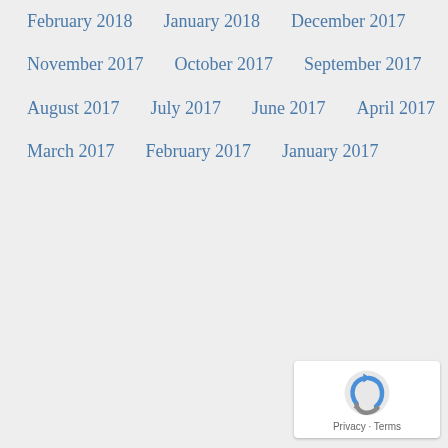February 2018
January 2018
December 2017
November 2017
October 2017
September 2017
August 2017
July 2017
June 2017
April 2017
March 2017
February 2017
January 2017